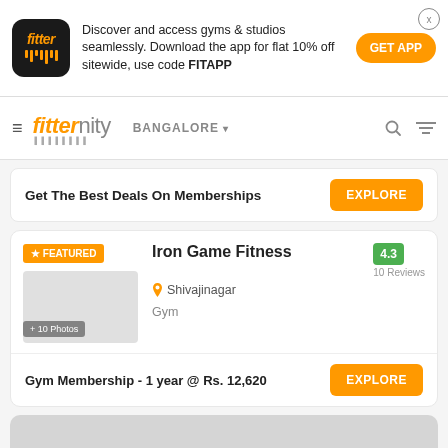[Figure (screenshot): Fitter app logo - black rounded square with orange 'fitter' text and bar pattern]
Discover and access gyms & studios seamlessly. Download the app for flat 10% off sitewide, use code FITAPP
GET APP
fitternity BANGALORE
Get The Best Deals On Memberships
EXPLORE
★ FEATURED
Iron Game Fitness
4.3
10 Reviews
Shivajinagar
Gym
+ 10 Photos
Gym Membership - 1 year @ Rs. 12,620
EXPLORE